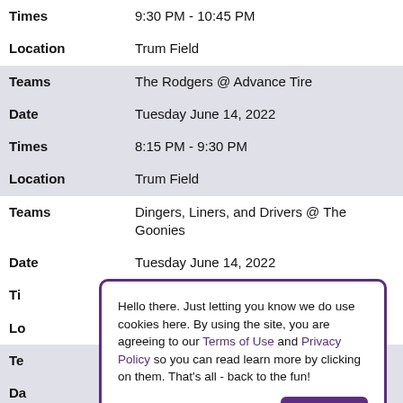| Times | 9:30 PM - 10:45 PM |
| Location | Trum Field |
| Teams | The Rodgers @ Advance Tire |
| Date | Tuesday June 14, 2022 |
| Times | 8:15 PM - 9:30 PM |
| Location | Trum Field |
| Teams | Dingers, Liners, and Drivers @ The Goonies |
| Date | Tuesday June 14, 2022 |
| Ti |  |
| Lo |  |
| Te |  |
| Da |  |
| Ti |  |
| Location | Trum Field |
| Te | Promier on Broadway @ The |
Hello there. Just letting you know we do use cookies here. By using the site, you are agreeing to our Terms of Use and Privacy Policy so you can read learn more by clicking on them. That's all - back to the fun!